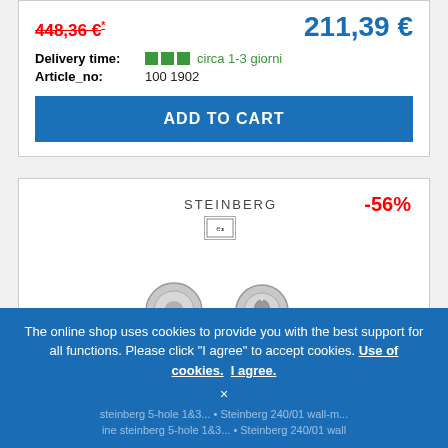448,36 €* (strikethrough old price) | 211,39 € (new price)
Delivery time: circa 1-3 giorni
Article_no: 100 1902
ADD TO CART
STEINBERG  -56%
[Figure (photo): Chrome wall-mounted bathroom faucet with spout and separate handle, shown from a front-angle view against white background.]
The online shop uses cookies to provide you with the best support for all functions. Please click "I agree" to accept cookies. Use of cookies. I agree.
× (close button)
Partially visible text below cookie banner